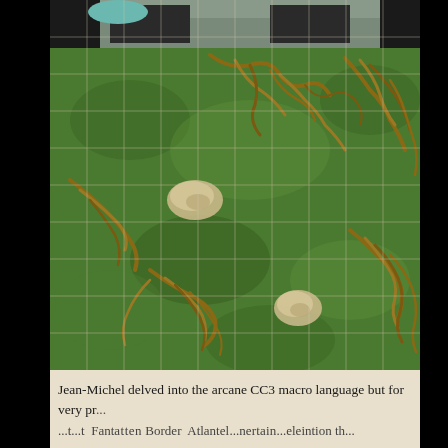[Figure (photo): A top-down view of a detailed grass and tree roots terrain map with a grid overlay. The scene shows dense green grass with sprawling brown tree roots and branches visible throughout. Two light-colored stone or rock objects are visible on the grass. In the upper portion, there appears to be a stone wall or building structure with dark window or door openings visible. The grid lines divide the image into equal squares, suggesting this is a tabletop role-playing game or wargame map tile.]
Jean-Michel delved into the arcane CC3 macro language but for very pr... ...t...t Fantastten Border Atlantel...nertain...eleintion th...